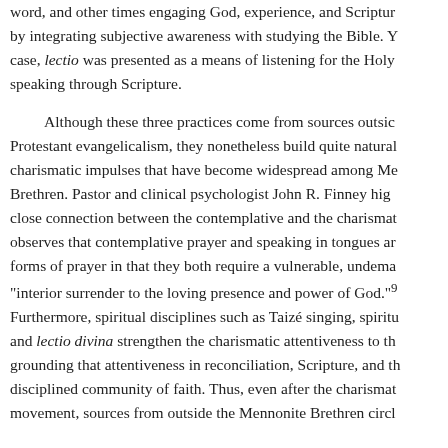word, and other times engaging God, experience, and Scripture by integrating subjective awareness with studying the Bible. Y case, lectio was presented as a means of listening for the Holy speaking through Scripture.

Although these three practices come from sources outsid Protestant evangelicalism, they nonetheless build quite natural charismatic impulses that have become widespread among Me Brethren. Pastor and clinical psychologist John R. Finney hig close connection between the contemplative and the charisma observes that contemplative prayer and speaking in tongues ar forms of prayer in that they both require a vulnerable, undema “interior surrender to the loving presence and power of God.” Furthermore, spiritual disciplines such as Taizé singing, spirit and lectio divina strengthen the charismatic attentiveness to th grounding that attentiveness in reconciliation, Scripture, and th disciplined community of faith. Thus, even after the charismat movement, sources from outside the Mennonite Brethren circl